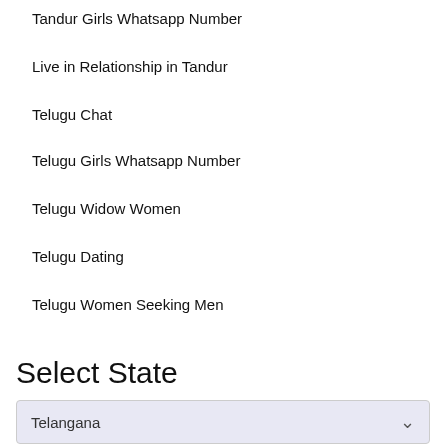Tandur Girls Whatsapp Number
Live in Relationship in Tandur
Telugu Chat
Telugu Girls Whatsapp Number
Telugu Widow Women
Telugu Dating
Telugu Women Seeking Men
Select State
Telangana